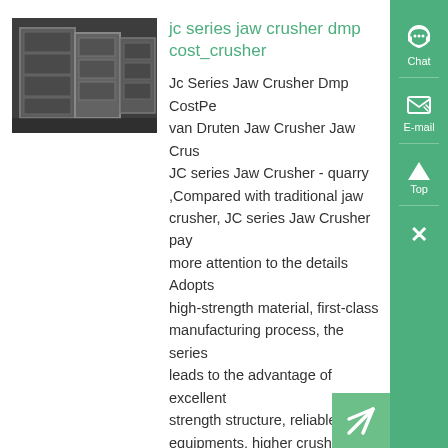[Figure (photo): Industrial jaw crusher machinery, heavy metal frame with multiple compartments, dark industrial setting]
jc series jaw crusher dmp cost_crusher
Jc Series Jaw Crusher Dmp CostPe van Druten Jaw Crusher Jaw Crus JC series Jaw Crusher - quarry ,Compared with traditional jaw crusher, JC series Jaw Crusher pay more attention to the details Adopts high-strength material, first-class manufacturing process, the series leads to the advantage of excellent strength structure, reliable equipments, higher crushing ratio, bigger capacity ,...
More Informations